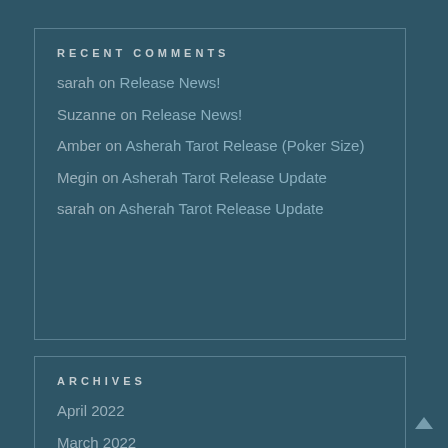RECENT COMMENTS
sarah on Release News!
Suzanne on Release News!
Amber on Asherah Tarot Release (Poker Size)
Megin on Asherah Tarot Release Update
sarah on Asherah Tarot Release Update
ARCHIVES
April 2022
March 2022